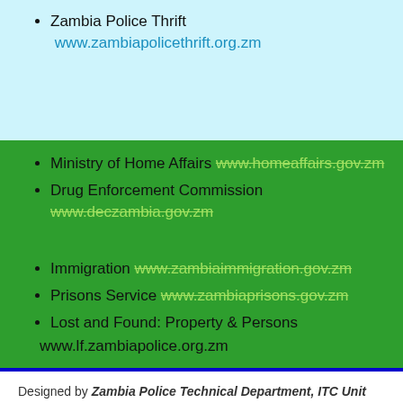Zambia Police Thrift  www.zambiapolicethrift.org.zm
Ministry of Home Affairs  www.homeaffairs.gov.zm
Drug Enforcement Commission  www.deczambia.gov.zm
Immigration  www.zambiaimmigration.gov.zm
Prisons Service  www.zambiaprisons.gov.zm
Lost and Found: Property & Persons
www.lf.zambiapolice.org.zm
Designed by Zambia Police Technical Department, ITC Unit under Information Technology Section. Copyright 2014 Zambia Police Website. All rights reserved.
Special acknowledgement to the Government of the Republic of Zambia and indeed the Inspector General of Police who took keen interest and ensured that the site was up and running.